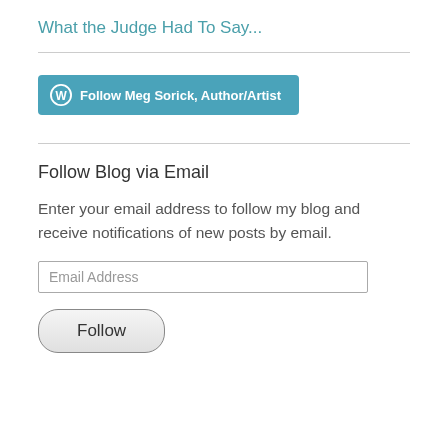What the Judge Had To Say...
[Figure (other): WordPress Follow button: 'Follow Meg Sorick, Author/Artist']
Follow Blog via Email
Enter your email address to follow my blog and receive notifications of new posts by email.
Email Address
Follow